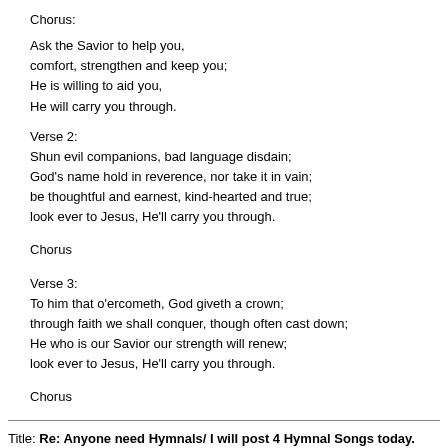Chorus:
Ask the Savior to help you,
comfort, strengthen and keep you;
He is willing to aid you,
He will carry you through.
Verse 2:
Shun evil companions, bad language disdain;
God's name hold in reverence, nor take it in vain;
be thoughtful and earnest, kind-hearted and true;
look ever to Jesus, He'll carry you through.
Chorus
Verse 3:
To him that o'ercometh, God giveth a crown;
through faith we shall conquer, though often cast down;
He who is our Savior our strength will renew;
look ever to Jesus, He'll carry you through.
Chorus
Title: Re: Anyone need Hymnals/ I will post 4 Hymnal Songs today.
Post by: clefnote on June 24, 2006, 08:36:05 PM
Quote from: porkpiepoppa on May 11, 2006, 10:37:46 PM
Hes sweet i know...